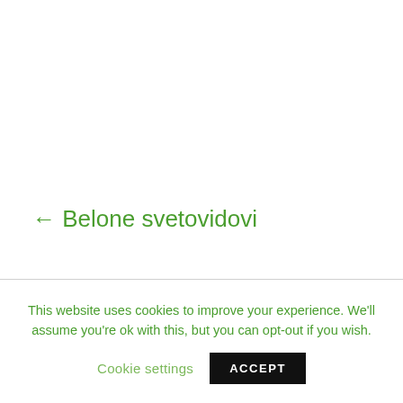← Belone svetovidovi
This website uses cookies to improve your experience. We'll assume you're ok with this, but you can opt-out if you wish.
Cookie settings
ACCEPT